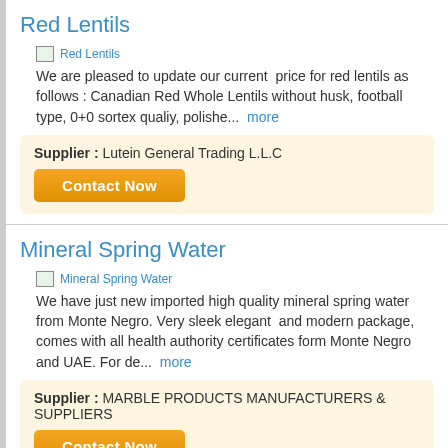Red Lentils
[Figure (photo): Red Lentils product image placeholder]
We are pleased to update our current price for red lentils as follows : Canadian Red Whole Lentils without husk, football type, 0+0 sortex qualiy, polishe... more
Supplier : Lutein General Trading L.L.C
Mineral Spring Water
[Figure (photo): Mineral Spring Water product image placeholder]
We have just new imported high quality mineral spring water from Monte Negro. Very sleek elegant and modern package, comes with all health authority certificates form Monte Negro and UAE. For de... more
Supplier : MARBLE PRODUCTS MANUFACTURERS & SUPPLIERS
Edible & crude oils best prices & Agri products